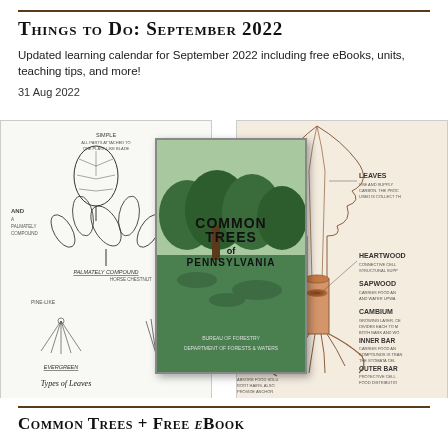Things to Do: September 2022
Updated learning calendar for September 2022 including free eBooks, units, teaching tips, and more!
31 Aug 2022
[Figure (illustration): Composite image showing three educational materials: left panel with black-and-white leaf identification diagrams including 'Types of Leaves' and 'Evergreen' labels, center showing a booklet cover for 'Common Trees of Pennsylvania' with green forest photo, and right panel showing a tree anatomy diagram with cross-section labeled with Leaves, Heartwood, Sapwood, Cambium, Inner Bark, Outer Bark, Soil, and Roots.]
Common Trees + Free eBook